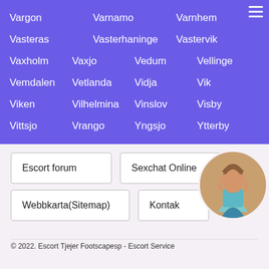Vargon  Varnamo  Varnhem
Vasteras  Vasterhaninge  Vastervik
Vaxholm  Vaxjo  Vedum  Vellinge
Vemdalen  Vetlanda  Vidja  Vik
Viken  Vilhelmina  Vinslov  Visby
Vittsjo  Vrango  Yngsjo  Ytterby
Escort forum
Sexchat Online
Webbkarta(Sitemap)
Kontak
[Figure (photo): Circular photo of a woman in blue top and denim shorts]
© 2022. Escort Tjejer Footscapesp - Escort Service